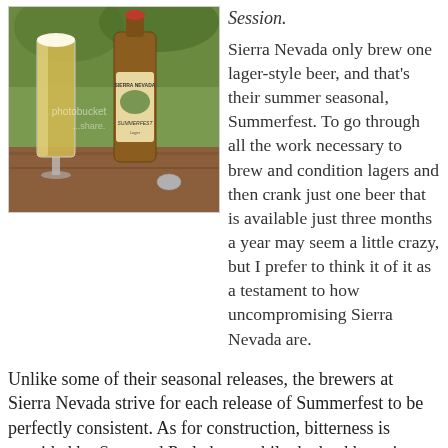[Figure (photo): Photo of a tall glass of golden lager beer and a Sierra Nevada Summerfest bottle on a wooden surface outdoors, with a bottle cap in front. Photobucket watermark visible.]
Session.

Sierra Nevada only brew one lager-style beer, and that's their summer seasonal, Summerfest. To go through all the work necessary to brew and condition lagers and then crank just one beer that is available just three months a year may seem a little crazy, but I prefer to think it of it as a testament to how uncompromising Sierra Nevada are.

Unlike some of their seasonal releases, the brewers at Sierra Nevada strive for each release of Summerfest to be perfectly consistent. As for construction, bitterness is provided by Saaz and Perle hops while the backbone is constructed with two-row pale and Munich malt varieties. Summerfest is subjected to an "extra-long" lagering period, which the brewery credit with the smoothness of the flavor profile.